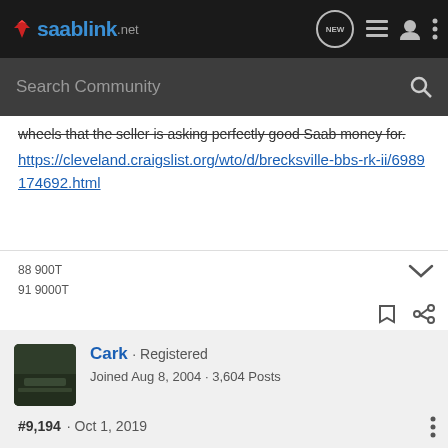saablink.net — navigation bar with NEW, list, user, and more icons
Search Community
wheels that the seller is asking perfectly good Saab money for.
https://cleveland.craigslist.org/wto/d/brecksville-bbs-rk-ii/6989174692.html
88 900T
91 9000T
Cark · Registered
Joined Aug 8, 2004 · 3,604 Posts
#9,194 · Oct 1, 2019